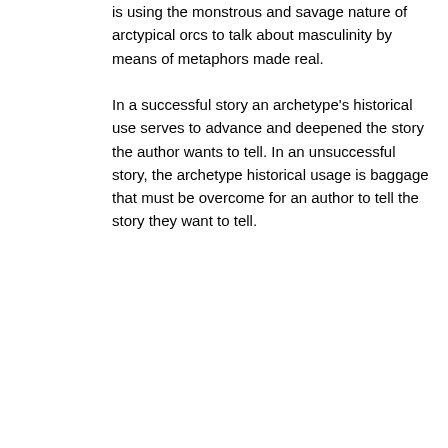is using the monstrous and savage nature of arctypical orcs to talk about masculinity by means of metaphors made real.

In a successful story an archetype's historical use serves to advance and deepened the story the author wants to tell. In an unsuccessful story, the archetype historical usage is baggage that must be overcome for an author to tell the story they want to tell.